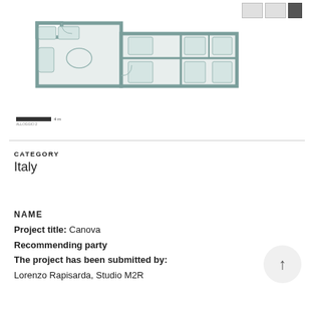[Figure (engineering-diagram): Architectural floor plan of an apartment unit showing multiple rooms including living area, bedrooms, and bathrooms, with furniture layout indicated. Small thumbnail images in top-right corner. Scale bar at bottom-left. Floor label 'ALLOGGIO 2' at bottom.]
CATEGORY
Italy
NAME
Project title: Canova
Recommending party
The project has been submitted by:
Lorenzo Rapisarda, Studio M2R